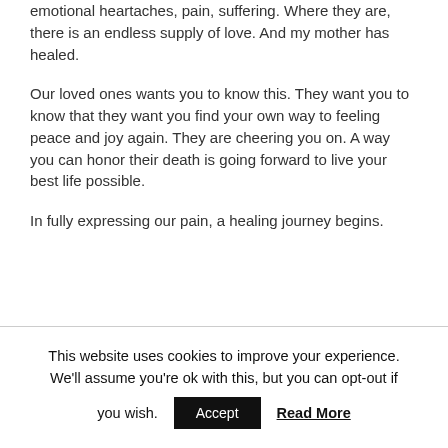emotional heartaches, pain, suffering. Where they are, there is an endless supply of love. And my mother has healed.
Our loved ones wants you to know this. They want you to know that they want you find your own way to feeling peace and joy again. They are cheering you on. A way you can honor their death is going forward to live your best life possible.
In fully expressing our pain, a healing journey begins.
This website uses cookies to improve your experience. We'll assume you're ok with this, but you can opt-out if you wish. Accept Read More